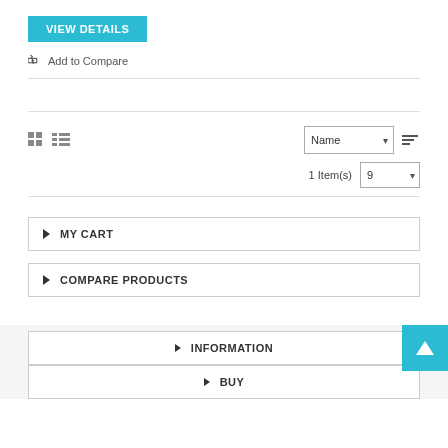VIEW DETAILS
Add to Compare
Name | 1 Item(s) | 9
MY CART
COMPARE PRODUCTS
INFORMATION
BUY